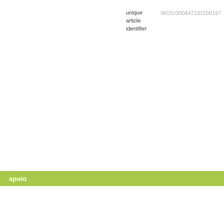unique article identifier
WOS:000447101500167
apoio